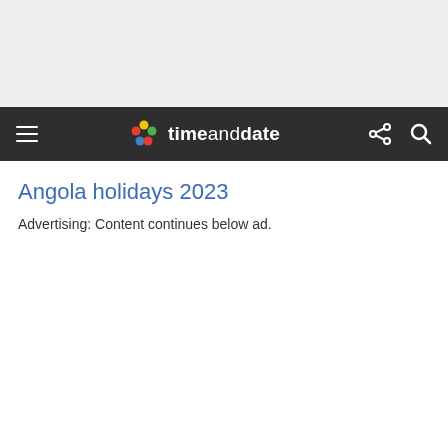[Figure (other): Gray advertisement banner placeholder at top of page]
≡  timeanddate  [share] [search]
Angola holidays 2023
Advertising: Content continues below ad.